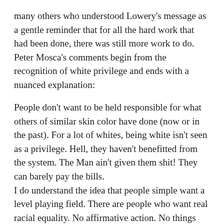many others who understood Lowery's message as a gentle reminder that for all the hard work that had been done, there was still more work to do.  Peter Mosca's comments begin from the recognition of white privilege and ends with a nuanced explanation:
People don't want to be held responsible for what others of similar skin color have done (now or in the past).  For a lot of whites, being white isn't seen as a privilege.  Hell, they haven't benefitted from the system.  The Man ain't given them shit! They can barely pay the bills.
I do understand the idea that people simple want a level playing field.  There are people who want real racial equality.  No affirmative action.  No things that black coworkers can say that whites can't.  No nothing.  No excuses.
Personally, I believe that such an attitude lack a historical